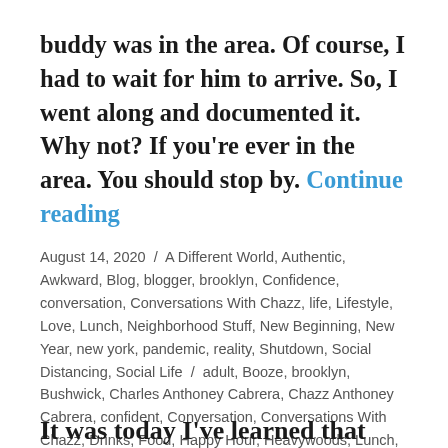buddy was in the area. Of course, I had to wait for him to arrive. So, I went along and documented it. Why not? If you're ever in the area. You should stop by. Continue reading
August 14, 2020 / A Different World, Authentic, Awkward, Blog, blogger, brooklyn, Confidence, conversation, Conversations With Chazz, life, Lifestyle, Love, Lunch, Neighborhood Stuff, New Beginning, New Year, new york, pandemic, reality, Shutdown, Social Distancing, Social Life / adult, Booze, brooklyn, Bushwick, Charles Anthoney Cabrera, Chazz Anthoney Cabrera, confident, Conversation, Conversations With Chazz, Drinks, Food, Happy Hour, Heavywoods, Lunch, Mac and cheese, Macaroni, Margarita, Paloma, Williamsburg, Yummy / 1 Comment
It was today I've learned that